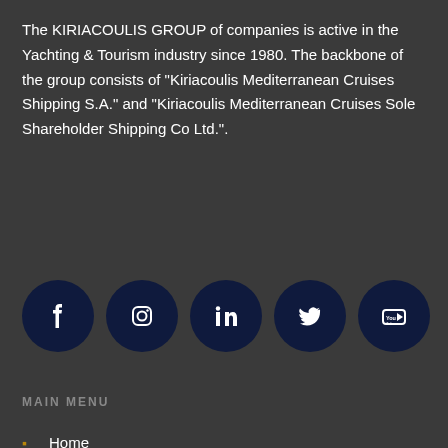The KIRIACOULIS GROUP of companies is active in the Yachting & Tourism industry since 1980. The backbone of the group consists of "Kiriacoulis Mediterranean Cruises Shipping S.A." and "Kiriacoulis Mediterranean Cruises Sole Shareholder Shipping Co Ltd.".
[Figure (infographic): Row of 5 dark navy circular social media icon buttons: Facebook, Instagram, LinkedIn, Twitter, YouTube]
MAIN MENU
Home
Management
Company Profile
Share Market Prices
Financial